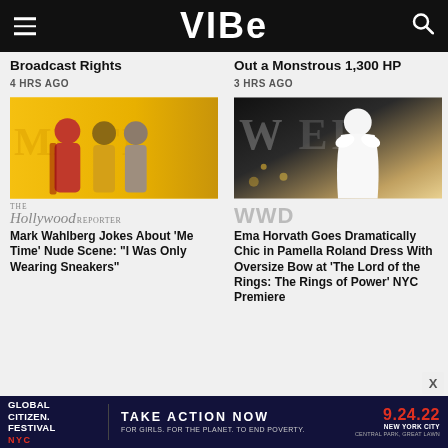VIBE
Broadcast Rights
4 HRS AGO
Out a Monstrous 1,300 HP
3 HRS AGO
[Figure (photo): Three people posing at a 'Me Time' movie premiere, yellow background with text]
[Figure (photo): Woman in white off-shoulder dress with oversized bow at 'The Lord of the Rings: The Rings of Power' NYC premiere, dark background with WAR letters]
The Hollywood Reporter
WWD
Mark Wahlberg Jokes About 'Me Time' Nude Scene: "I Was Only Wearing Sneakers"
Ema Horvath Goes Dramatically Chic in Pamella Roland Dress With Oversize Bow at 'The Lord of the Rings: The Rings of Power' NYC Premiere
[Figure (infographic): Global Citizen Festival NYC advertisement: TAKE ACTION NOW 9.24.22 New York City Central Park, Great Lawn. For girls, for the planet, to end poverty.]